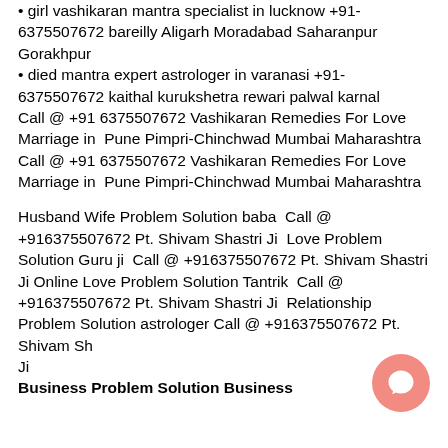• girl vashikaran mantra specialist in lucknow +91-6375507672 bareilly Aligarh Moradabad Saharanpur Gorakhpur
• died mantra expert astrologer in varanasi +91-6375507672 kaithal kurukshetra rewari palwal karnal
Call @ +91 6375507672 Vashikaran Remedies For Love Marriage in  Pune Pimpri-Chinchwad Mumbai Maharashtra
Call @ +91 6375507672 Vashikaran Remedies For Love Marriage in  Pune Pimpri-Chinchwad Mumbai Maharashtra
Husband Wife Problem Solution baba  Call @ +916375507672 Pt. Shivam Shastri Ji  Love Problem Solution Guru ji  Call @ +916375507672 Pt. Shivam Shastri Ji Online Love Problem Solution Tantrik  Call @ +916375507672 Pt. Shivam Shastri Ji  Relationship Problem Solution astrologer Call @ +916375507672 Pt. Shivam Shastri Ji
Business Problem Solution  Business